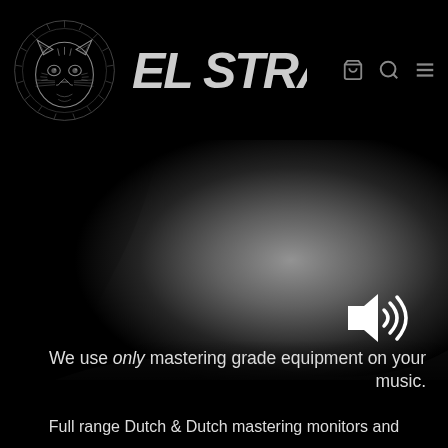[Figure (logo): El Stray brand logo: geometric cat face illustration with radiating lines forming a circular badge, monochrome on black background, with stylized 'EL STRAY' text to the right]
[Figure (photo): Close-up photograph of a studio monitor speaker driver/cone, dark monochrome image with gradient highlight, speaker volume icon in white in lower right]
We use only mastering grade equipment on your music.
Full range Dutch & Dutch mastering monitors and